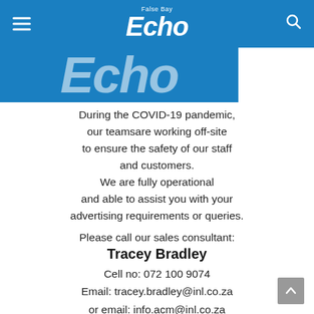False Bay Echo
[Figure (logo): Echo newspaper logo banner in blue with large white italic bold text 'Echo']
During the COVID-19 pandemic, our teamsare working off-site to ensure the safety of our staff and customers. We are fully operational and able to assist you with your advertising requirements or queries.
Please call our sales consultant:
Tracey Bradley
Cell no: 072 100 9074
Email: tracey.bradley@inl.co.za
or email: info.acm@inl.co.za
for classified advertising please contact